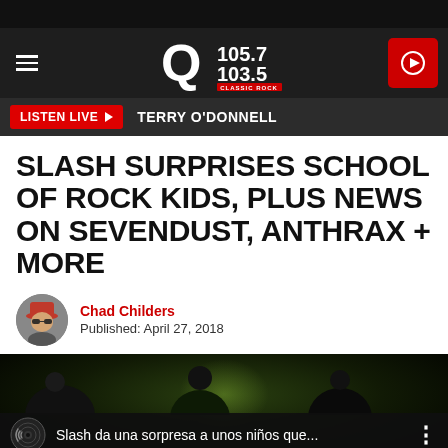[Figure (screenshot): Q105.7/103.5 Classic Rock radio station website header with hamburger menu, station logo, and red play button]
[Figure (screenshot): Listen Live button in red with play arrow, and DJ name TERRY O'DONNELL on dark bar]
SLASH SURPRISES SCHOOL OF ROCK KIDS, PLUS NEWS ON SEVENDUST, ANTHRAX + MORE
Chad Childers
Published: April 27, 2018
[Figure (screenshot): YouTube video thumbnail showing Slash da una sorpresa a unos niños que... with vinyl record icon and three-dot menu]